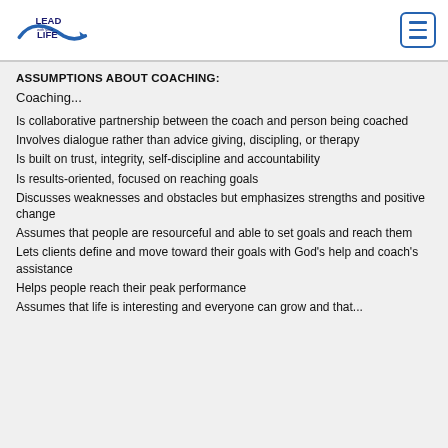LEAD WITH YOUR LIFE logo and navigation menu
ASSUMPTIONS ABOUT COACHING:
Coaching...
Is collaborative partnership between the coach and person being coached
Involves dialogue rather than advice giving, discipling, or therapy
Is built on trust, integrity, self-discipline and accountability
Is results-oriented, focused on reaching goals
Discusses weaknesses and obstacles but emphasizes strengths and positive change
Assumes that people are resourceful and able to set goals and reach them
Lets clients define and move toward their goals with God's help and coach's assistance
Helps people reach their peak performance
Assumes that life is interesting and everyone can grow and that ...